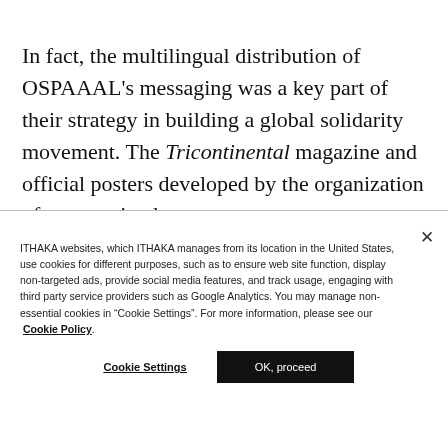In fact, the multilingual distribution of OSPAAAL's messaging was a key part of their strategy in building a global solidarity movement. The Tricontinental magazine and official posters developed by the organization often contained [text continues below]
ITHAKA websites, which ITHAKA manages from its location in the United States, use cookies for different purposes, such as to ensure web site function, display non-targeted ads, provide social media features, and track usage, engaging with third party service providers such as Google Analytics. You may manage non-essential cookies in “Cookie Settings”. For more information, please see our Cookie Policy.
Cookie Settings
OK, proceed